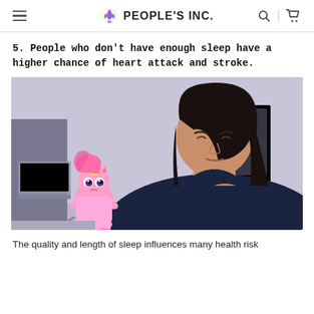PEOPLE'S INC.
5. People who don't have enough sleep have a higher chance of heart attack and stroke.
[Figure (photo): A woman in a dark navy shirt clutches her chest in apparent pain or discomfort, eyes closed, with a small cartoon unicorn character overlaid in the lower left, set in an office environment with a laptop visible.]
The quality and length of sleep influences many health risk